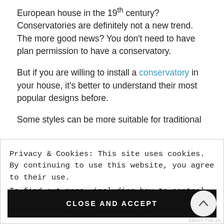European house in the 19th century? Conservatories are definitely not a new trend. The more good news? You don't need to have plan permission to have a conservatory.
But if you are willing to install a conservatory in your house, it's better to understand their most popular designs before.
Some styles can be more suitable for traditional
Privacy & Cookies: This site uses cookies. By continuing to use this website, you agree to their use.
To find out more, including how to control cookies, see here: Cookie Policy
CLOSE AND ACCEPT